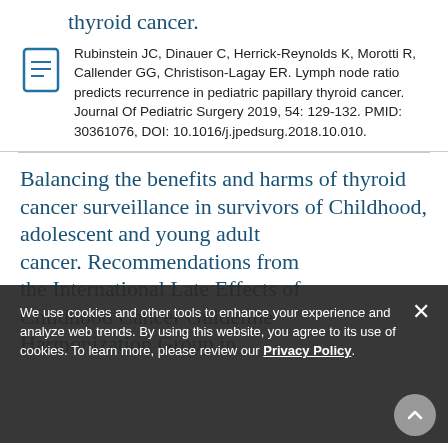thyroid cancer.
Rubinstein JC, Dinauer C, Herrick-Reynolds K, Morotti R, Callender GG, Christison-Lagay ER. Lymph node ratio predicts recurrence in pediatric papillary thyroid cancer. Journal Of Pediatric Surgery 2019, 54: 129-132. PMID: 30361076, DOI: 10.1016/j.jpedsurg.2018.10.010.
Balancing the benefits and harms of thyroid cancer surveillance in survivors of Childhood, adolescent and young adult cancer. Recommendations from the International Late Effects of Childhood Cancer Guideline Harmonization Group in
We use cookies and other tools to enhance your experience and analyze web trends. By using this website, you agree to its use of cookies. To learn more, please review our Privacy Policy.